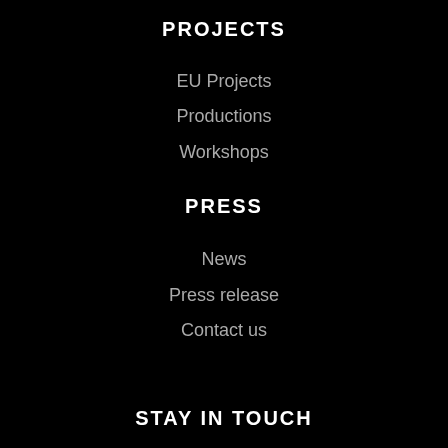PROJECTS
EU Projects
Productions
Workshops
PRESS
News
Press release
Contact us
STAY IN TOUCH